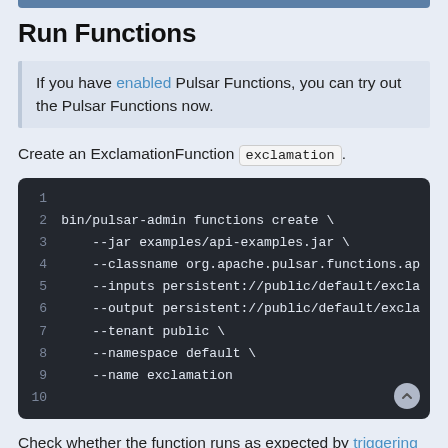Run Functions
If you have enabled Pulsar Functions, you can try out the Pulsar Functions now.
Create an ExclamationFunction exclamation.
[Figure (screenshot): Dark-themed code block showing a terminal command to create a Pulsar Function named exclamation using bin/pulsar-admin functions create with arguments --jar, --classname, --inputs, --output, --tenant, --namespace, --name]
Check whether the function runs as expected by triggering the function.